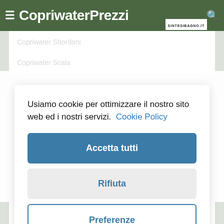≡ CopriwaterPrezzi SINTESIBAGNO.IT 🔍
Copriwater Sbordoni
Copriwater Scala
Usiamo cookie per ottimizzare il nostro sito web ed i nostri servizi. Cookie Policy
Accetta tutti
Rifiuta
Preferenze
Data papier